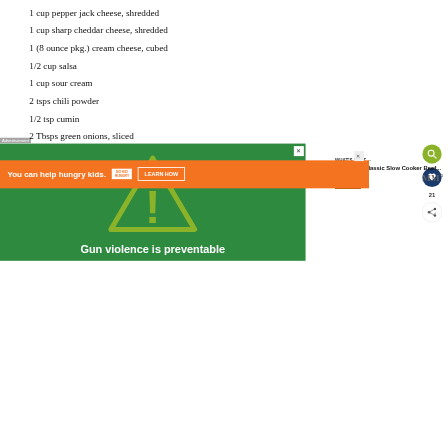1 cup pepper jack cheese, shredded
1 cup sharp cheddar cheese, shredded
1 (8 ounce pkg.) cream cheese, cubed
1/2 cup salsa
1 cup sour cream
2 tsps chili powder
1/2 tsp cumin
2 Tbsps green onions, sliced
[Figure (screenshot): Green advertisement banner with warning triangle and exclamation mark icon, text 'Gun violence is preventable']
Advertisement
[Figure (screenshot): Orange bottom banner ad: 'You can help hungry kids. NO KID HUNGRY LEARN HOW']
WHAT'S NEXT → Classic Slow Cooker Beef...
21